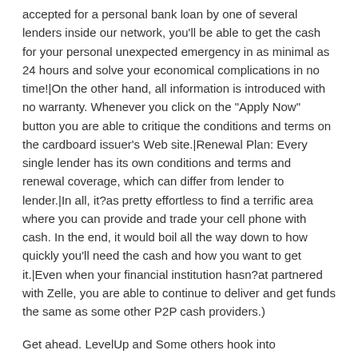accepted for a personal bank loan by one of several lenders inside our network, you'll be able to get the cash for your personal unexpected emergency in as minimal as 24 hours and solve your economical complications in no time!|On the other hand, all information is introduced with no warranty. Whenever you click on the "Apply Now" button you are able to critique the conditions and terms on the cardboard issuer's Web site.|Renewal Plan: Every single lender has its own conditions and terms and renewal coverage, which can differ from lender to lender.|In all, it?as pretty effortless to find a terrific area where you can provide and trade your cell phone with cash. In the end, it would boil all the way down to how quickly you'll need the cash and how you want to get it.|Even when your financial institution hasn?at partnered with Zelle, you are able to continue to deliver and get funds the same as some other P2P cash providers.)
Get ahead. LevelUp and Some others hook into community eateries and allow you to put in an get so that the lunch is ready so that you can pick up once you get there. It is really comparable to what is actually supplied by some merchant-distinct applications such as Starbucks app.